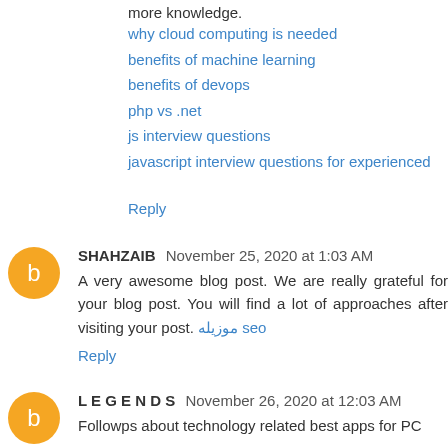more knowledge.
why cloud computing is needed
benefits of machine learning
benefits of devops
php vs .net
js interview questions
javascript interview questions for experienced
Reply
SHAHZAIB November 25, 2020 at 1:03 AM
A very awesome blog post. We are really grateful for your blog post. You will find a lot of approaches after visiting your post. موزیله seo
Reply
L E G E N D S November 26, 2020 at 12:03 AM
Followps about technology related best apps for PC